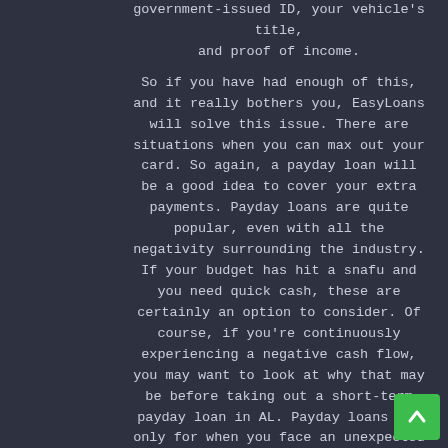government-issued ID, your vehicle's title, and proof of income.
So if you have had enough of this, and it really bothers you, EasyLoans will solve this issue. There are situations when you can max out your card. So again, a payday loan will be a good idea to cover your extra payments. Payday loans are quite popular, even with all the negativity surrounding the industry. If your budget has hit a snafu and you need quick cash, these are certainly an option to consider. Of course, if you're continuously experiencing a negative cash flow, you may want to look at why that may be before taking out a short-term payday loan in AL. Payday loans are only for when you face an unexpected expenditure such as a car repair or medical bill. A payday loan allows you to have money when you need it most.